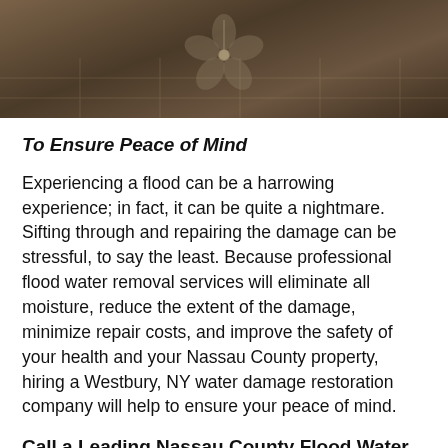[Figure (photo): Overhead photo of a flooded or water-damaged interior room with ceiling fan visible, dark brownish tones]
To Ensure Peace of Mind
Experiencing a flood can be a harrowing experience; in fact, it can be quite a nightmare. Sifting through and repairing the damage can be stressful, to say the least. Because professional flood water removal services will eliminate all moisture, reduce the extent of the damage, minimize repair costs, and improve the safety of your health and your Nassau County property, hiring a Westbury, NY water damage restoration company will help to ensure your peace of mind.
Call a Leading Nassau County Flood Water Removal Contractor